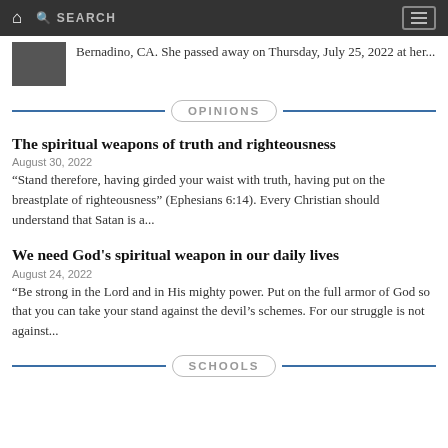SEARCH
Bernadino, CA. She passed away on Thursday, July 25, 2022 at her...
OPINIONS
The spiritual weapons of truth and righteousness
August 30, 2022
“Stand therefore, having girded your waist with truth, having put on the breastplate of righteousness” (Ephesians 6:14). Every Christian should understand that Satan is a...
We need God's spiritual weapon in our daily lives
August 24, 2022
“Be strong in the Lord and in His mighty power. Put on the full armor of God so that you can take your stand against the devil’s schemes. For our struggle is not against...
SCHOOLS